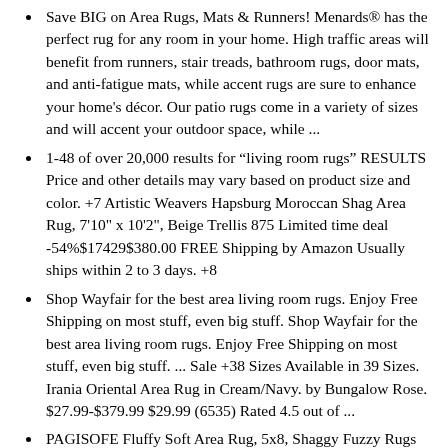Save BIG on Area Rugs, Mats & Runners! Menards® has the perfect rug for any room in your home. High traffic areas will benefit from runners, stair treads, bathroom rugs, door mats, and anti-fatigue mats, while accent rugs are sure to enhance your home's décor. Our patio rugs come in a variety of sizes and will accent your outdoor space, while ...
1-48 of over 20,000 results for "living room rugs" RESULTS Price and other details may vary based on product size and color. +7 Artistic Weavers Hapsburg Moroccan Shag Area Rug, 7'10" x 10'2", Beige Trellis 875 Limited time deal -54%$17429$380.00 FREE Shipping by Amazon Usually ships within 2 to 3 days. +8
Shop Wayfair for the best area living room rugs. Enjoy Free Shipping on most stuff, even big stuff. Shop Wayfair for the best area living room rugs. Enjoy Free Shipping on most stuff, even big stuff. ... Sale +38 Sizes Available in 39 Sizes. Irania Oriental Area Rug in Cream/Navy. by Bungalow Rose. $27.99-$379.99 $29.99 (6535) Rated 4.5 out of ...
PAGISOFE Fluffy Soft Area Rug, 5x8, Shaggy Fuzzy Rugs for Living Room Bedroom, Shag Carpet for Kids Girls Baby's Room, Furry Rugs for Nursery Decor, Floor Rugs for Dorm Room, Light Grey. Solid. 23,146. -15%$5699$66.99.
Multiple Sizes. $41.40 - $69.00. Real Living Black Medallion Oakmont Patio Rug. Real Living Black Medallion Oakmont Patio Rug. 71. Multiple Sizes. Not available for